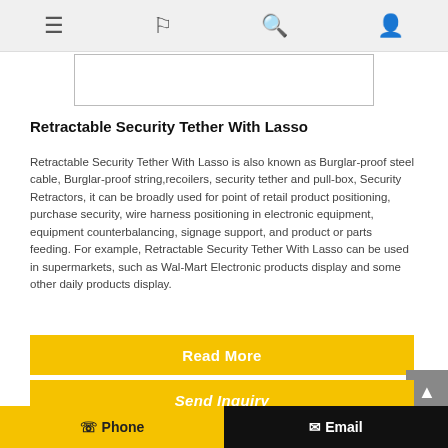Navigation bar with menu, flag, search, and user icons
[Figure (photo): Product image placeholder (white rectangle with border)]
Retractable Security Tether With Lasso
Retractable Security Tether With Lasso is also known as Burglar-proof steel cable, Burglar-proof string,recoilers, security tether and pull-box, Security Retractors, it can be broadly used for point of retail product positioning, purchase security, wire harness positioning in electronic equipment, equipment counterbalancing, signage support, and product or parts feeding. For example, Retractable Security Tether With Lasso can be used in supermarkets, such as Wal-Mart Electronic products display and some other daily products display.
Read More
Send Inquiry
Phone   Email